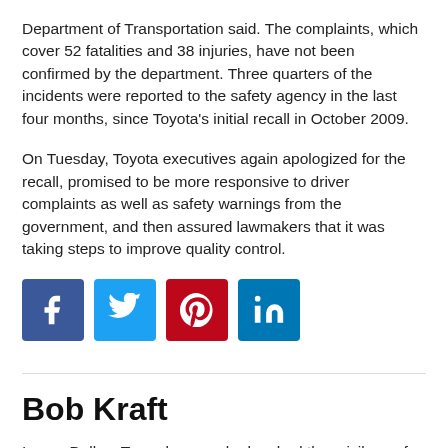Department of Transportation said. The complaints, which cover 52 fatalities and 38 injuries, have not been confirmed by the department. Three quarters of the incidents were reported to the safety agency in the last four months, since Toyota's initial recall in October 2009.
On Tuesday, Toyota executives again apologized for the recall, promised to be more responsive to driver complaints as well as safety warnings from the government, and then assured lawmakers that it was taking steps to improve quality control.
[Figure (infographic): Social media sharing icons: Facebook (blue), Twitter (light blue), Pinterest (red), LinkedIn (blue)]
Bob Kraft
I am a Dallas, Texas lawyer who has had the privilege of helping thousands of clients since 1971 in the areas of